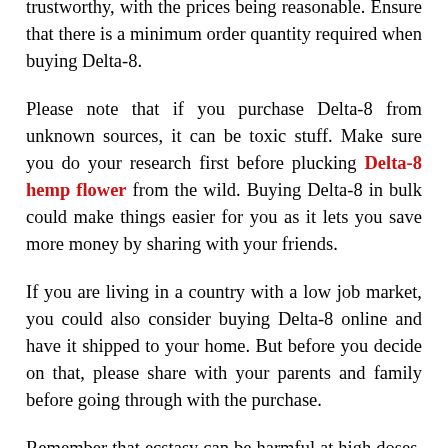trustworthy, with the prices being reasonable. Ensure that there is a minimum order quantity required when buying Delta-8.
Please note that if you purchase Delta-8 from unknown sources, it can be toxic stuff. Make sure you do your research first before plucking Delta-8 hemp flower from the wild. Buying Delta-8 in bulk could make things easier for you as it lets you save more money by sharing with your friends.
If you are living in a country with a low job market, you could also consider buying Delta-8 online and have it shipped to your home. But before you decide on that, please share with your parents and family before going through with the purchase.
Remember that ecstasy can be harmful at high doses, and some people may not be able to handle it if they are exposed to the drug for a long time. So make sure to take proper care of